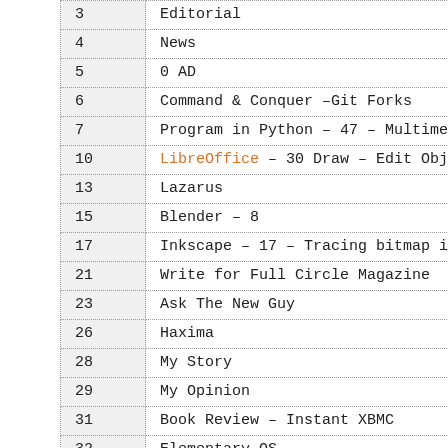| Page | Title |
| --- | --- |
| 3 | Editorial |
| 4 | News |
| 5 | 0 AD |
| 6 | Command & Conquer –Git Forks |
| 7 | Program in Python – 47 – Multimedia Server D |
| 10 | LibreOffice – 30 Draw – Edit Objects |
| 13 | Lazarus |
| 15 | Blender – 8 |
| 17 | Inkscape – 17 – Tracing bitmap images |
| 21 | Write for Full Circle Magazine |
| 23 | Ask The New Guy |
| 26 | Haxima |
| 28 | My Story |
| 29 | My Opinion |
| 31 | Book Review – Instant XBMC |
| 32 | Elementary OS |
| 36 | The Dark Knight (digiKam) |
| 39 | Letters |